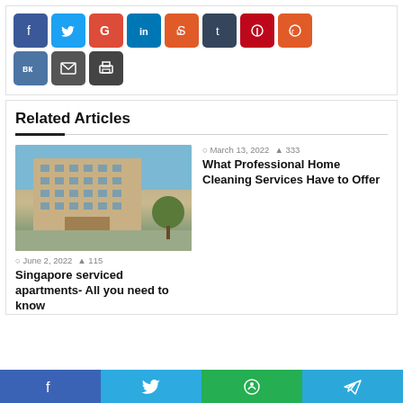[Figure (screenshot): Social media share buttons: Facebook (blue), Twitter (light blue), Google+ (red), LinkedIn (blue), StumbleUpon (orange-red), Tumblr (dark blue-gray), Pinterest (red), Reddit (orange-red) in top row; VK (blue), Email (dark gray), Print (dark gray) in second row.]
Related Articles
[Figure (photo): Photo of a multi-story beige/tan apartment building with many windows, trees on the right side, street in foreground, blue sky with clouds.]
June 2, 2022  115
Singapore serviced apartments- All you need to know
March 13, 2022  333
What Professional Home Cleaning Services Have to Offer
[Figure (screenshot): Bottom sticky social share bar with four buttons: Facebook (blue-purple), Twitter (blue), WhatsApp (green), Telegram (light blue).]